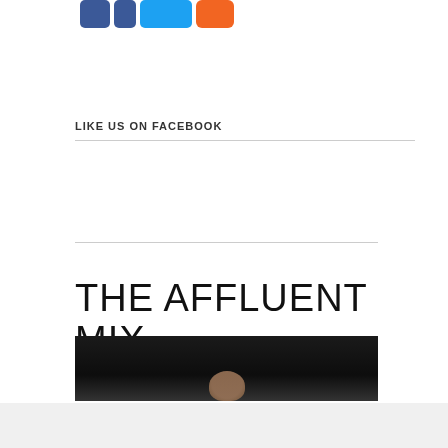[Figure (logo): Social media icon buttons: Facebook square, Facebook f, Twitter bird, RSS/email orange button]
LIKE US ON FACEBOOK
[Figure (photo): Dark photograph showing top of a person's head against a black background]
THE AFFLUENT MIX